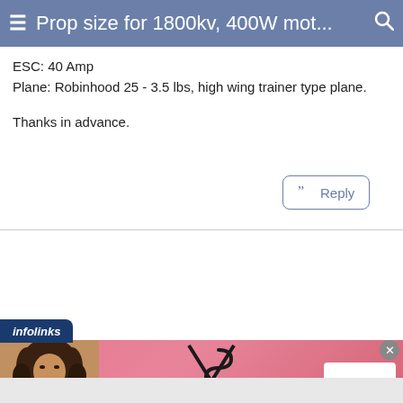≡ Prop size for 1800kv, 400W mot... 🔍
ESC: 40 Amp
Plane: Robinhood 25 - 3.5 lbs, high wing trainer type plane.
Thanks in advance.
[Figure (screenshot): Reply button with quote icon, bordered with blue-gray color]
[Figure (infographic): Victoria's Secret advertisement banner with model photo, VS logo, 'SHOP THE COLLECTION' text, and 'SHOP NOW' button]